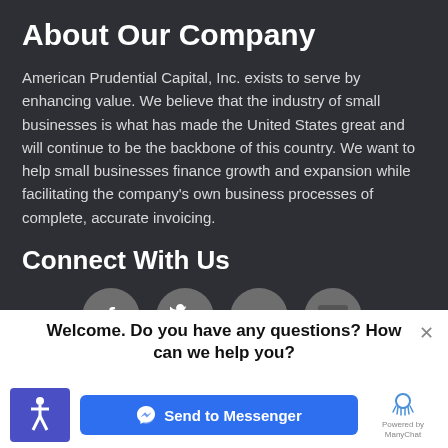About Our Company
American Prudential Capital, Inc. exists to serve by enhancing value. We believe that the industry of small businesses is what has made the United States great and will continue to be the backbone of this country. We want to help small businesses finance growth and expansion while facilitating the company's own business processes of complete, accurate invoicing.
Connect With Us
[Figure (infographic): Four social media icon circles: Facebook (f), Twitter (bird), LinkedIn (in), YouTube (You/Tube logo)]
Welcome. Do you have any questions? How can we help you?
[Figure (infographic): Chat popup footer with accessibility icon (wheelchair), Send to Messenger blue button, and ManyChat powered-by logo]